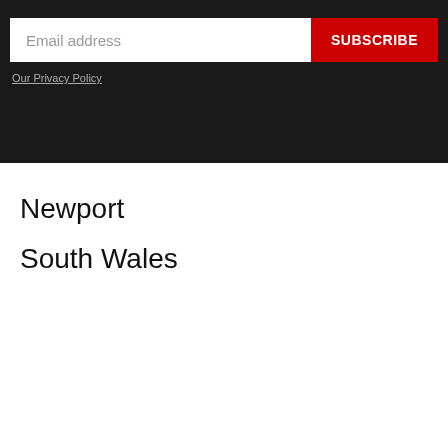[Figure (screenshot): Email subscription form with a white input field labeled 'Email address' and a red 'SUBSCRIBE' button, on a dark background with an 'Our Privacy Policy' link below]
Newport
South Wales